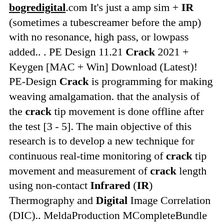bogredigital.com It's just a amp sim + IR (sometimes a tubescreamer before the amp) with no resonance, high pass, or lowpass added.. . PE Design 11.21 Crack 2021 + Keygen [MAC + Win] Download (Latest)! PE-Design Crack is programming for making weaving amalgamation. that the analysis of the crack tip movement is done offline after the test [3 - 5]. The main objective of this research is to develop a new technique for continuous real-time monitoring of crack tip movement and measurement of crack length using non-contact Infrared (IR) Thermography and Digital Image Correlation (DIC).. MeldaProduction MCompleteBundle is the ultimate collection. Yeah, it's only marginally cheaper than the 31,92€ you would pay if you buy 2 IR packs at the same time at Bogren Digital's site, or 27,93€ if you buy 3 IR packs, which is one euro cheaper than Lancaster with today's conversion rate.. "/>